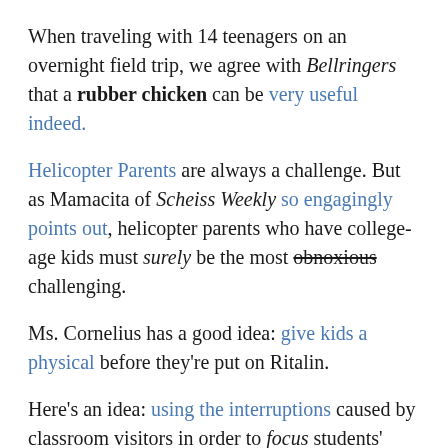When traveling with 14 teenagers on an overnight field trip, we agree with Bellringers that a rubber chicken can be very useful indeed.
Helicopter Parents are always a challenge. But as Mamacita of Scheiss Weekly so engagingly points out, helicopter parents who have college-age kids must surely be the most obnoxious challenging.
Ms. Cornelius has a good idea: give kids a physical before they're put on Ritalin.
Here's an idea: using the interruptions caused by classroom visitors in order to focus students' attention.
Mrs. Bluebird points out that even though the kids